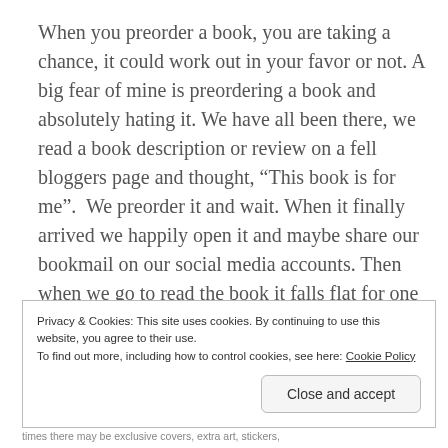When you preorder a book, you are taking a chance, it could work out in your favor or not. A big fear of mine is preordering a book and absolutely hating it. We have all been there, we read a book description or review on a fell bloggers page and thought, “This book is for me”.  We preorder it and wait. When it finally arrived we happily open it and maybe share our bookmail on our social media accounts. Then when we go to read the book it falls flat for one reason or another. This is large con when it comes to preordering books. There is no guarantee we are going to like the book.
Privacy & Cookies: This site uses cookies. By continuing to use this website, you agree to their use.
To find out more, including how to control cookies, see here: Cookie Policy
Close and accept
times there may be exclusive covers, extra art, stickers,